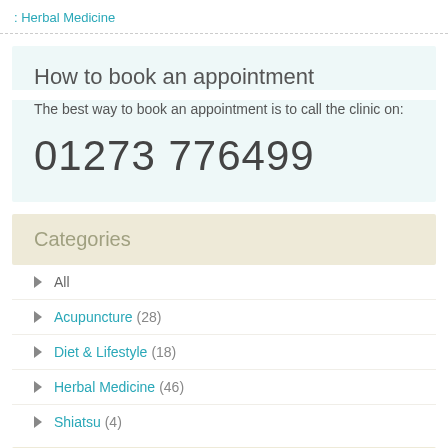: Herbal Medicine
How to book an appointment
The best way to book an appointment is to call the clinic on:
01273 776499
Categories
All
Acupuncture (28)
Diet & Lifestyle (18)
Herbal Medicine (46)
Shiatsu (4)
Archive